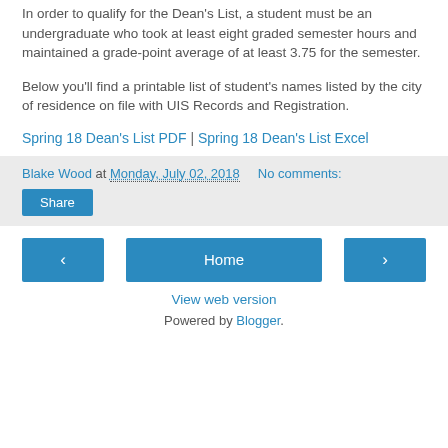In order to qualify for the Dean's List, a student must be an undergraduate who took at least eight graded semester hours and maintained a grade-point average of at least 3.75 for the semester.
Below you'll find a printable list of student's names listed by the city of residence on file with UIS Records and Registration.
Spring 18 Dean's List PDF | Spring 18 Dean's List Excel
Blake Wood at Monday, July 02, 2018   No comments:
Share
‹
Home
›
View web version
Powered by Blogger.